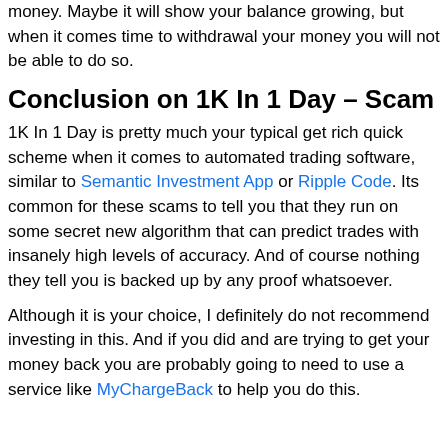The software might make you think that you are making money. Maybe it will show your balance growing, but when it comes time to withdrawal your money you will not be able to do so.
Conclusion on 1K In 1 Day – Scam
1K In 1 Day is pretty much your typical get rich quick scheme when it comes to automated trading software, similar to Semantic Investment App or Ripple Code. Its common for these scams to tell you that they run on some secret new algorithm that can predict trades with insanely high levels of accuracy. And of course nothing they tell you is backed up by any proof whatsoever.
Although it is your choice, I definitely do not recommend investing in this. And if you did and are trying to get your money back you are probably going to need to use a service like MyChargeBack to help you do this.